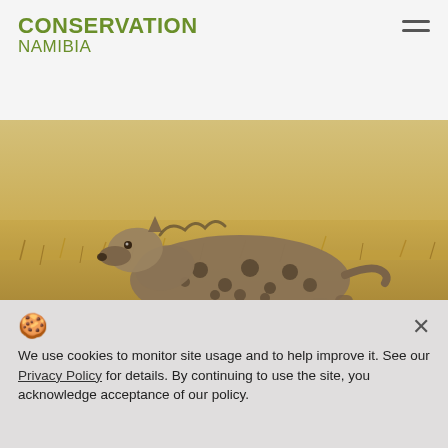CONSERVATION NAMIBIA
[Figure (photo): A spotted hyena lying on dry grass savanna, looking to the left. Photo credit: © Stéphanie Périquet]
© Stéphanie Périquet
Hyaena research and
We use cookies to monitor site usage and to help improve it. See our Privacy Policy for details. By continuing to use the site, you acknowledge acceptance of our policy.